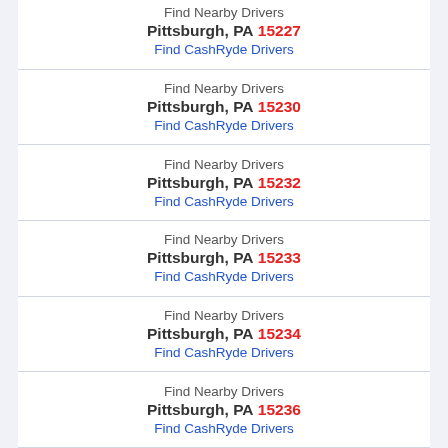Find Nearby Drivers Pittsburgh, PA 15227 Find CashRyde Drivers
Find Nearby Drivers Pittsburgh, PA 15230 Find CashRyde Drivers
Find Nearby Drivers Pittsburgh, PA 15232 Find CashRyde Drivers
Find Nearby Drivers Pittsburgh, PA 15233 Find CashRyde Drivers
Find Nearby Drivers Pittsburgh, PA 15234 Find CashRyde Drivers
Find Nearby Drivers Pittsburgh, PA 15236 Find CashRyde Drivers